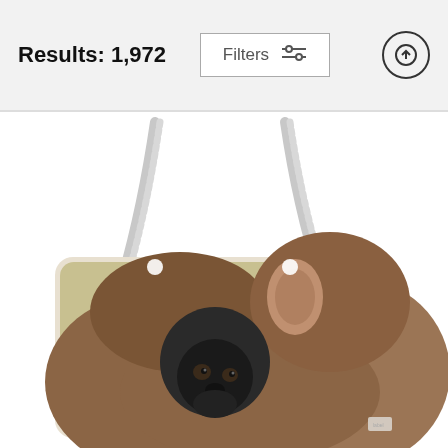Results: 1,972
[Figure (screenshot): Filters button with sliders icon and an upload/scroll-up arrow button in a circle]
[Figure (photo): A tote bag product with a photograph of a mother gorilla holding a baby gorilla printed on it, with white rope handles against a white background]